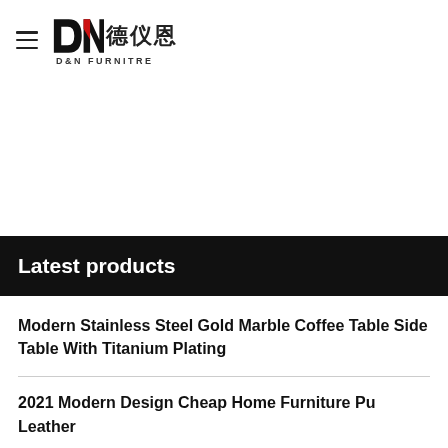D&N FURNITRE (德仪恩)
Latest products
Modern Stainless Steel Gold Marble Coffee Table Side Table With Titanium Plating
2021 Modern Design Cheap Home Furniture Pu Leather